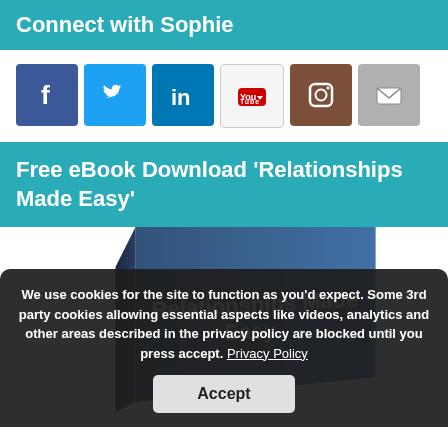Connect with Sophie
[Figure (infographic): Row of social media icons: Facebook, Twitter, LinkedIn, YouTube, Instagram, Email]
Free eBook Download ‘Relationships Made Easy’
[Figure (photo): Book cover image showing 'Relationships Made Easy' text on a blue book]
We use cookies for the site to function as you’d expect. Some 3rd party cookies allowing essential aspects like videos, analytics and other areas described in the privacy policy are blocked until you press accept. Privacy Policy